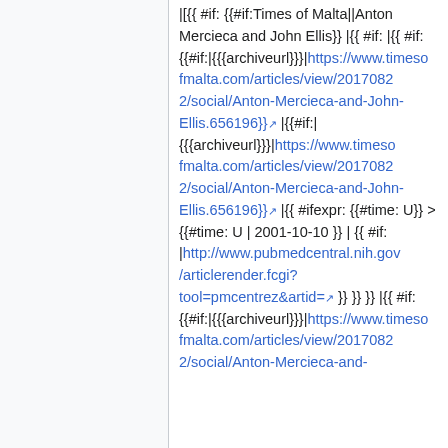|[{{ #if: {{#if:Times of Malta||Anton Mercieca and John Ellis}} |{{ #if: |{{ #if: {{#if:|{{{archiveurl}}}|https://www.timesofmalta.com/articles/view/20170822/social/Anton-Mercieca-and-John-Ellis.656196}} |{{#if:|{{{archiveurl}}}|https://www.timesofmalta.com/articles/view/20170822/social/Anton-Mercieca-and-John-Ellis.656196}} |{{ #ifexpr: {{#time: U}} > {{#time: U | 2001-10-10 }} | {{ #if: |http://www.pubmedcentral.nih.gov/articlerender.fcgi?tool=pmcentrez&artid= }} }} }} }} |{{ #if: {{#if:|{{{archiveurl}}}|https://www.timesofmalta.com/articles/view/20170822/social/Anton-Mercieca-and-